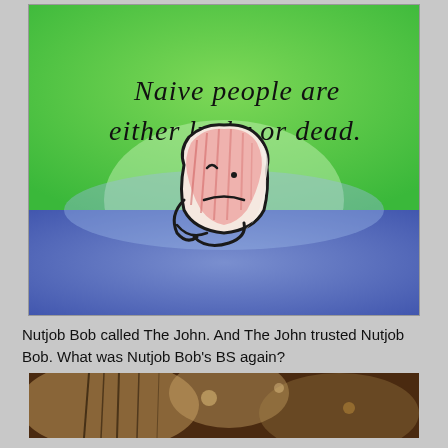[Figure (illustration): Cartoon illustration of a sad bread/toast character with a pink/red shaded face, small eyes and a frown, arms crossed. Background is green on top transitioning to blue/purple on bottom. Text in handwritten style reads: 'Naive people are either lucky or dead.']
Nutjob Bob called The John. And The John trusted Nutjob Bob. What was Nutjob Bob's BS again?
[Figure (photo): Partial photo at the bottom showing a blurry, bokeh scene with warm tones — appears to show a person or object in a natural outdoor setting.]